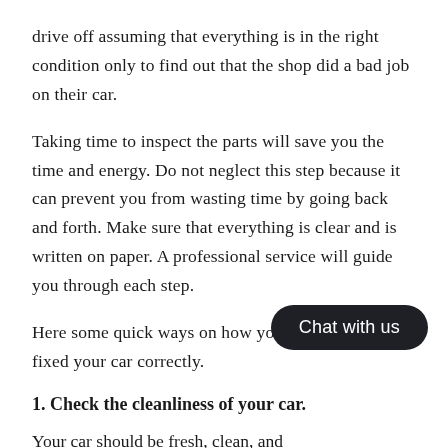drive off assuming that everything is in the right condition only to find out that the shop did a bad job on their car.
Taking time to inspect the parts will save you the time and energy. Do not neglect this step because it can prevent you from wasting time by going back and forth. Make sure that everything is clear and is written on paper. A professional service will guide you through each step.
Here some quick ways on how you can check if they fixed your car correctly.
1. Check the cleanliness of your car.
Your car should be fresh, clean, and w[...] the interior and exterior of your vehicle for signs of dust or